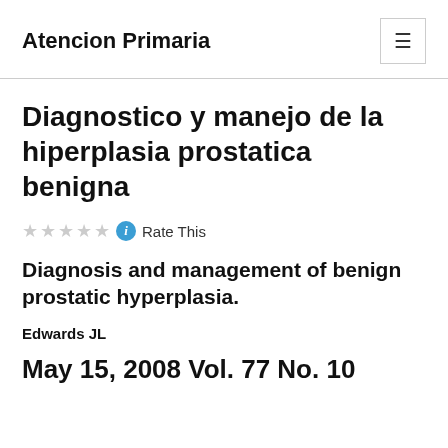Atencion Primaria
Diagnostico y manejo de la hiperplasia prostatica benigna
Rate This
Diagnosis and management of benign prostatic hyperplasia.
Edwards JL
May 15, 2008 Vol. 77 No. 10